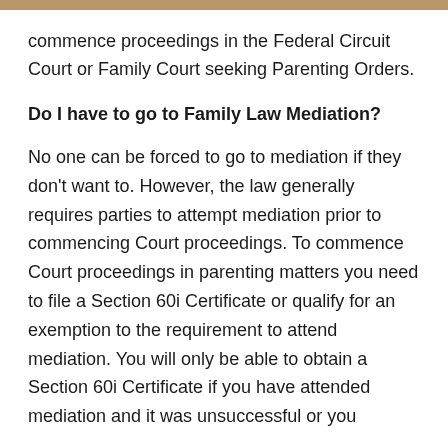commence proceedings in the Federal Circuit Court or Family Court seeking Parenting Orders.
Do I have to go to Family Law Mediation?
No one can be forced to go to mediation if they don't want to. However, the law generally requires parties to attempt mediation prior to commencing Court proceedings. To commence Court proceedings in parenting matters you need to file a Section 60i Certificate or qualify for an exemption to the requirement to attend mediation. You will only be able to obtain a Section 60i Certificate if you have attended mediation and it was unsuccessful or you